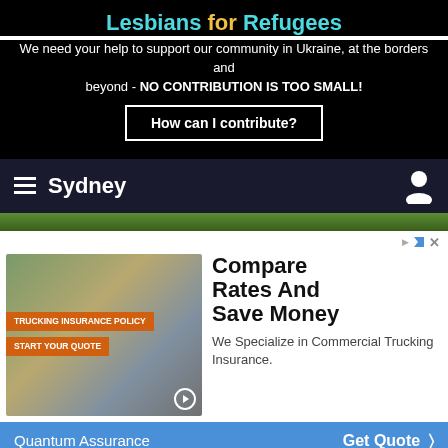Lesbians for Refugees
We need your help to support our community in Ukraine, at the borders and beyond - NO CONTRIBUTION IS TOO SMALL!
How can I contribute?
Sydney
[Figure (photo): Advertisement image of a smiling man wearing a cap and plaid shirt, standing in front of a large truck. Orange overlay text reads: TRUCKING INSURANCE POLICY / START YOUR QUOTE]
Compare Rates And Save Money
We Specialize in Commercial Trucking Insurance.
Quantum Assurance   Get Quote >
Overview   Things to do   Nightlife   Pride & Events